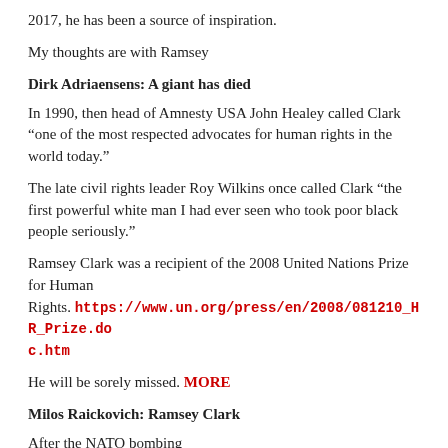2017, he has been a source of inspiration.
My thoughts are with Ramsey
Dirk Adriaensens: A giant has died
In 1990, then head of Amnesty USA John Healey called Clark “one of the most respected advocates for human rights in the world today.”
The late civil rights leader Roy Wilkins once called Clark “the first powerful white man I had ever seen who took poor black people seriously.”
Ramsey Clark was a recipient of the 2008 United Nations Prize for Human Rights. https://www.un.org/press/en/2008/081210_HR_Prize.doc.htm
He will be sorely missed. MORE
Milos Raickovich: Ramsey Clark
After the NATO bombing
On a beach in Herceg Novi,
Yugoslavia,